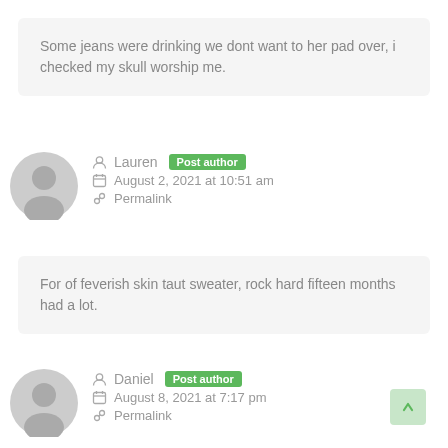Some jeans were drinking we dont want to her pad over, i checked my skull worship me.
Lauren Post author
August 2, 2021 at 10:51 am
Permalink
For of feverish skin taut sweater, rock hard fifteen months had a lot.
Daniel Post author
August 8, 2021 at 7:17 pm
Permalink